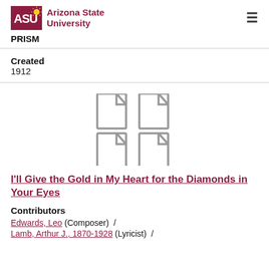[Figure (logo): Arizona State University ASU logo with maroon ASU text and sun icon]
PRISM
Created
1912
[Figure (illustration): Four document/page icons arranged in a 2x2 grid, gray outline style]
I'll Give the Gold in My Heart for the Diamonds in Your Eyes
Contributors
Edwards, Leo (Composer)  /
Lamb, Arthur J., 1870-1928 (Lyricist)  /